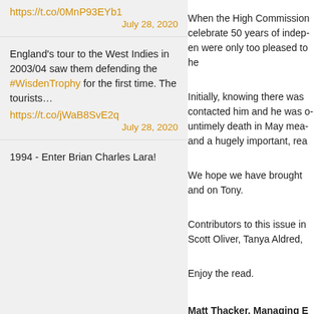https://t.co/0MnP93EYb1
July 28, 2020
England's tour to the West Indies in 2003/04 saw them defending the #WisdenTrophy for the first time. The tourists… https://t.co/jWaB8SvE2q
July 28, 2020
1994 - Enter Brian Charles Lara!
When the High Commissio... celebrate 50 years of indep... were only too pleased to he...
Initially, knowing there was ... contacted him and he was o... untimely death in May mea... and a hugely important, rea...
We hope we have brought ... and on Tony.
Contributors to this issue in... Scott Oliver, Tanya Aldred, ...
Enjoy the read.
Matt Thacker, Managing E...